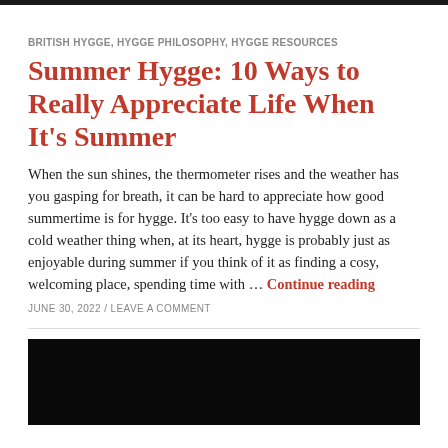BRITISH HYGGE, HYGGE PHILOSOPHY, HYGGE RESOURCES
Summer Hygge: 10 Ways to Really Appreciate Life When It's Summer
When the sun shines, the thermometer rises and the weather has you gasping for breath, it can be hard to appreciate how good summertime is for hygge. It's too easy to have hygge down as a cold weather thing when, at its heart, hygge is probably just as enjoyable during summer if you think of it as finding a cosy, welcoming place, spending time with … Continue reading
JUNE 30, 2022 / LEAVE A COMMENT
[Figure (photo): Dark/black image at bottom of page, partially visible]